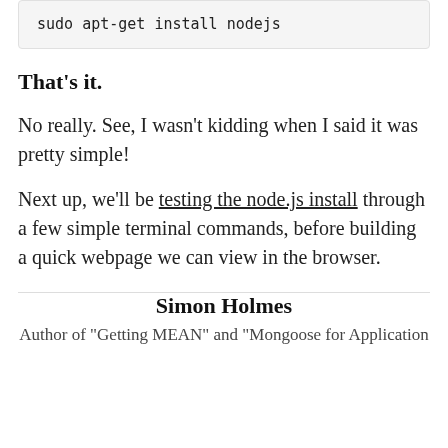sudo apt-get install nodejs
That's it.
No really. See, I wasn't kidding when I said it was pretty simple!
Next up, we'll be testing the node.js install through a few simple terminal commands, before building a quick webpage we can view in the browser.
Simon Holmes
Author of "Getting MEAN" and "Mongoose for Application